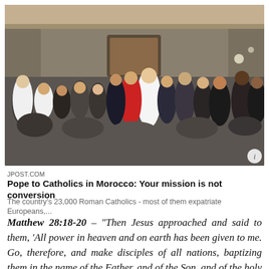[Figure (photo): Photo of a large indoor gathering with the Pope in white vestments greeting a crowd of people in a large ornate hall, clergy and attendees visible, cameras and media present.]
JPOST.COM
Pope to Catholics in Morocco: Your mission is not conversion
The country's 23,000 Roman Catholics - most of them expatriate Europeans,...
Matthew 28:18-20 – "Then Jesus approached and said to them, 'All power in heaven and on earth has been given to me. Go, therefore, and make disciples of all nations, baptizing them in the name of the Father, and of the Son, and of the holy Spirit, teaching them to observe all that I